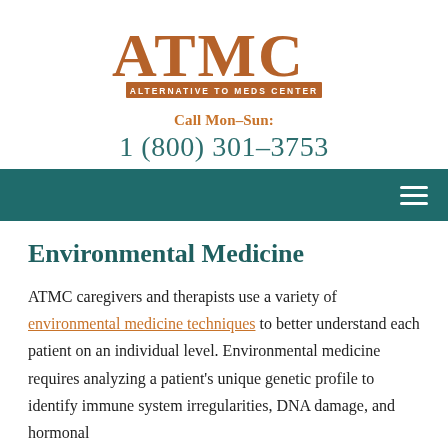[Figure (logo): ATMC - Alternative to Meds Center logo with large orange/brown lettering and a brown banner reading ALTERNATIVE TO MEDS CENTER]
Call Mon–Sun:
1 (800) 301–3753
[Figure (other): Dark teal navigation bar with hamburger menu icon on the right]
Environmental Medicine
ATMC caregivers and therapists use a variety of environmental medicine techniques to better understand each patient on an individual level. Environmental medicine requires analyzing a patient's unique genetic profile to identify immune system irregularities, DNA damage, and hormonal